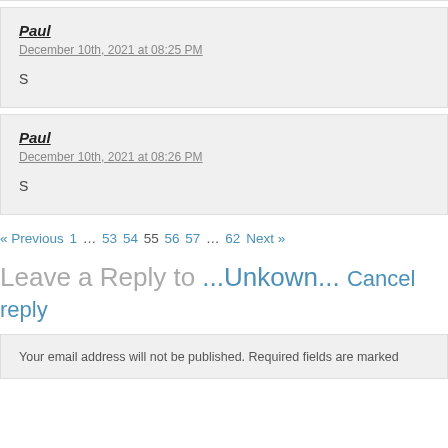Paul
December 10th, 2021 at 08:25 PM
S
Paul
December 10th, 2021 at 08:26 PM
S
« Previous 1 … 53 54 55 56 57 … 62 Next »
Leave a Reply to ...Unkown... Cancel reply
Your email address will not be published. Required fields are marked